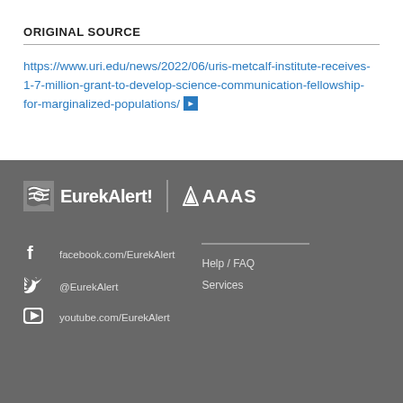ORIGINAL SOURCE
https://www.uri.edu/news/2022/06/uris-metcalf-institute-receives-1-7-million-grant-to-develop-science-communication-fellowship-for-marginalized-populations/
[Figure (logo): EurekAlert! and AAAS logos in white on grey footer background]
facebook.com/EurekAlert
@EurekAlert
youtube.com/EurekAlert
Help / FAQ
Services